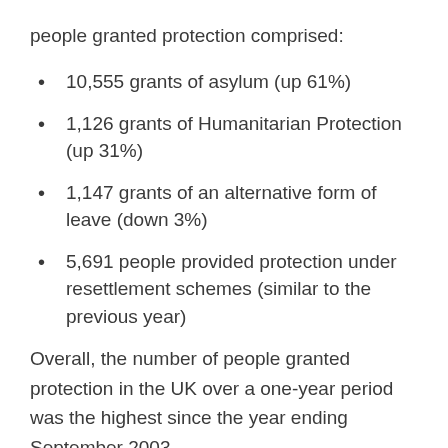people granted protection comprised:
10,555 grants of asylum (up 61%)
1,126 grants of Humanitarian Protection (up 31%)
1,147 grants of an alternative form of leave (down 3%)
5,691 people provided protection under resettlement schemes (similar to the previous year)
Overall, the number of people granted protection in the UK over a one-year period was the highest since the year ending September 2003.